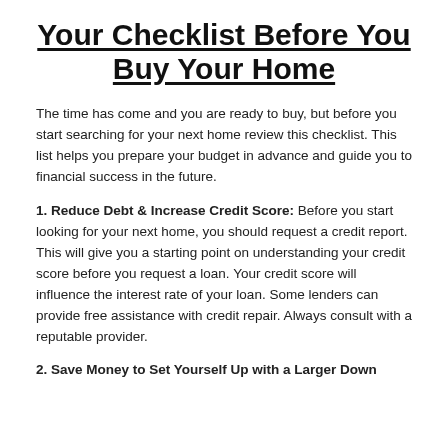Your Checklist Before You Buy Your Home
The time has come and you are ready to buy, but before you start searching for your next home review this checklist. This list helps you prepare your budget in advance and guide you to financial success in the future.
1. Reduce Debt & Increase Credit Score: Before you start looking for your next home, you should request a credit report. This will give you a starting point on understanding your credit score before you request a loan. Your credit score will influence the interest rate of your loan. Some lenders can provide free assistance with credit repair. Always consult with a reputable provider.
2. Save Money to Set Yourself Up with a Larger Down